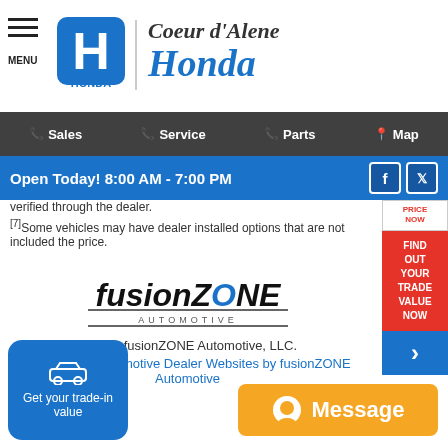MENU | HONDA | Coeur d'Alene Honda
Sales | Service | Parts | Map
Open Today! 8:00 AM - 7:00 PM
verified through the dealer.
[7]Some vehicles may have dealer installed options that are not included the price.
[Figure (logo): fusionZONE AUTOMOTIVE logo]
© 2022 fusionZONE Automotive, LLC.
Responsive Automotive Dealer Websites by fusionZONE Automotive
Get your trade-in value
Message